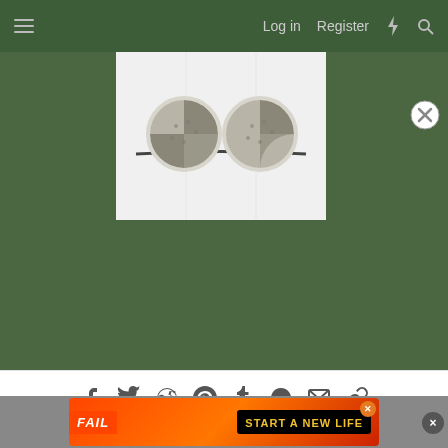Log in  Register
[Figure (photo): Two circular metal earphone/earbud pieces with metallic mesh, placed on a white surface resembling a pac-man / broken circle shape]
[Figure (infographic): Social share icons: Facebook, Twitter, Reddit, Pinterest, Tumblr, WhatsApp, Email, Link]
< Excel Questions
Contact us  Terms and rules  Privacy policy  Help
Community platform by XenForo® © 2010-2022 XenForo Ltd.
All contents © 1998-2022 by MrExcel Publishing.
[Figure (infographic): BitLife advertisement banner: FAIL text with animated character, fire graphic, and 'START A NEW LIFE' text on black background with BitLife logo]